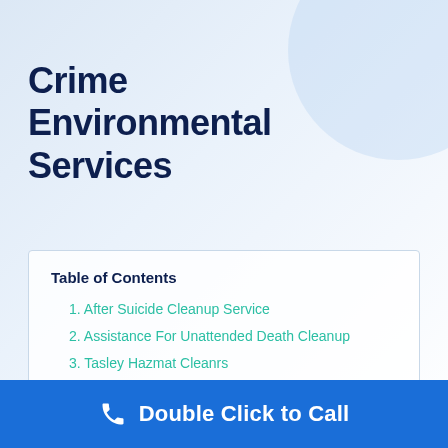Crime Scene & Environmental Cleanup Services
Table of Contents
1. After Suicide Cleanup Service
2. Assistance For Unattended Death Cleanup
3. Tasley Hazmat Cleanrs
4. Testimonials
Double Click to Call